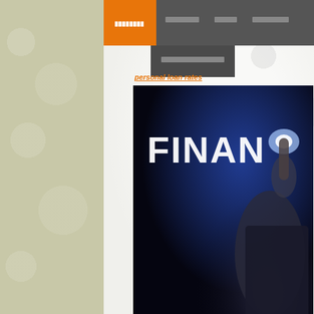[Figure (screenshot): Website navigation bar with orange tab and gray tabs showing blurred/redacted menu items]
[Figure (screenshot): Sub-navigation dropdown with blurred/redacted text on dark gray background]
personal loan rates
[Figure (photo): Person in suit touching a glowing digital screen showing the word FINAN (Finance) in bold white text]
national guard
national guard va hom
[Figure (photo): Stock market candlestick chart with red and green candles on dark blue background]
Irs Tax Debt R
Irs Tax Debt Program